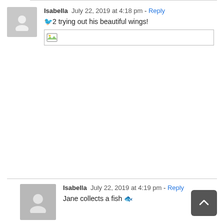Isabella   July 22, 2019 at 4:18 pm - Reply
🐦2 trying out his beautiful wings!
[Figure (photo): Broken image placeholder with small image icon]
Isabella   July 22, 2019 at 4:19 pm - Reply
Jane collects a fish 🐟